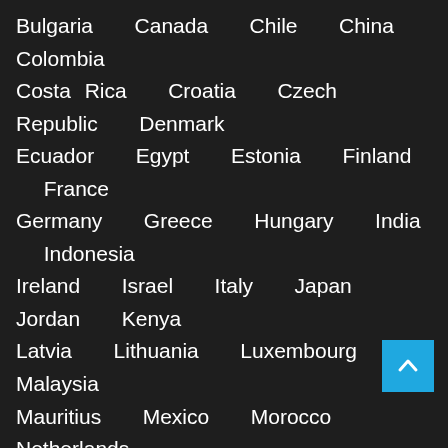Bulgaria  Canada  Chile  China  Colombia  Costa Rica  Croatia  Czech Republic  Denmark  Ecuador  Egypt  Estonia  Finland  France  Germany  Greece  Hungary  India  Indonesia  Ireland  Israel  Italy  Japan  Jordan  Kenya  Latvia  Lithuania  Luxembourg  Malaysia  Mauritius  Mexico  Morocco  Netherlands  New Zealand  Norway  Pakistan  Panama  Paraguay  Philippines  Poland  Portugal  Romania  Russia  Saudi Arabia  Serbia  Singapore  South Africa  South Korea  Spain  Sweden  Switzerland  Taiwan  Thailand  Turkey  Ukraine  United Arab Emirates  United Kingdom  United States  Uruguay  Venezuela  Vietnam